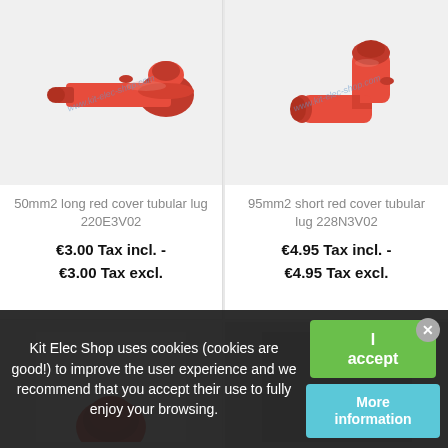[Figure (photo): Red tubular lug connector boot cover, angled side view, long version, with www.kit-elec-shop.com watermark]
[Figure (photo): Red tubular lug connector boot cover, angled side view, short version (90-degree elbow), with www.kit-elec-shop.com watermark]
50mm2 long red cover tubular lug 220E3V02
€3.00 Tax incl. - €3.00 Tax excl.
95mm2 short red cover tubular lug 228N3V02
€4.95 Tax incl. - €4.95 Tax excl.
[Figure (photo): Partial view of red connector cover, bottom-left card]
[Figure (photo): Partial dark view, bottom-right card]
Kit Elec Shop uses cookies (cookies are good!) to improve the user experience and we recommend that you accept their use to fully enjoy your browsing.